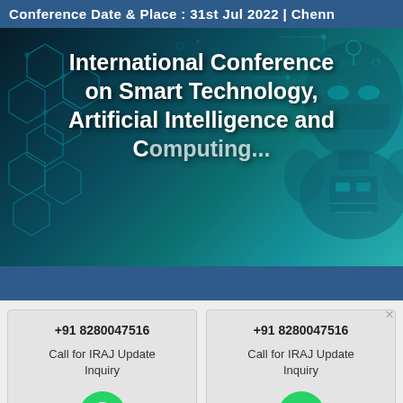Conference Date & Place : 31st Jul 2022 | Chennai
[Figure (illustration): Banner image with dark teal tech background featuring hexagon circuit patterns, a robot/AI head silhouette on the right, and white bold text reading 'International Conference on Smart Technology, Artificial Intelligence and Computing']
International Conference on Smart Technology, Artificial Intelligence and Computing
+91 8280047516
Call for IRAJ Update Inquiry
+91 8280047516
Call for IRAJ Update Inquiry